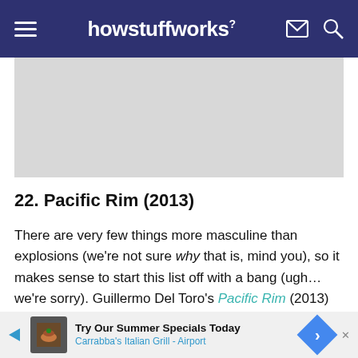howstuffworks
[Figure (photo): Gray placeholder image area]
22. Pacific Rim (2013)
There are very few things more masculine than explosions (we're not sure why that is, mind you), so it makes sense to start this list off with a bang (ugh… we're sorry). Guillermo Del Toro's Pacific Rim (2013) provides plenty of explosions as it pits massive,
[Figure (screenshot): Advertisement banner: Try Our Summer Specials Today — Carrabba's Italian Grill - Airport]